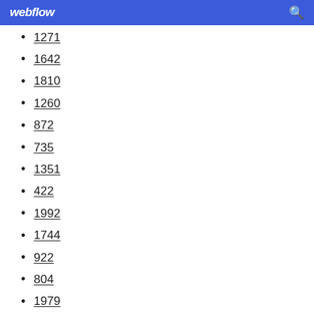webflow
1271
1642
1810
1260
872
735
1351
422
1992
1744
922
804
1979